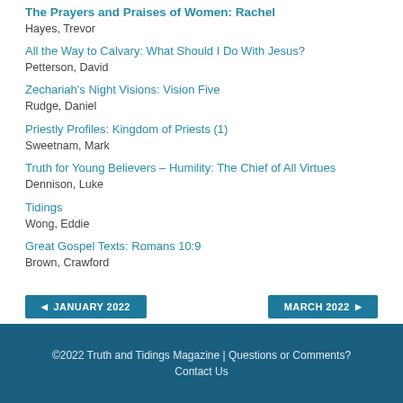The Prayers and Praises of Women: Rachel
Hayes, Trevor
All the Way to Calvary: What Should I Do With Jesus?
Petterson, David
Zechariah's Night Visions: Vision Five
Rudge, Daniel
Priestly Profiles: Kingdom of Priests (1)
Sweetnam, Mark
Truth for Young Believers – Humility: The Chief of All Virtues
Dennison, Luke
Tidings
Wong, Eddie
Great Gospel Texts: Romans 10:9
Brown, Crawford
©2022 Truth and Tidings Magazine | Questions or Comments? Contact Us